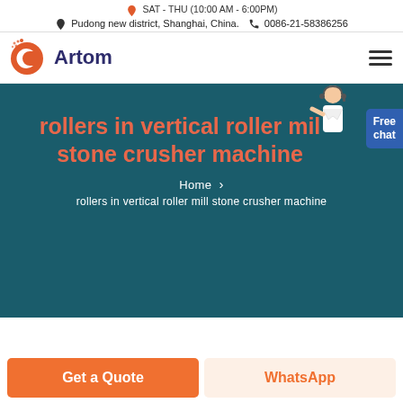SAT - THU (10:00 AM - 6:00PM)
Pudong new district, Shanghai, China.  0086-21-58386256
[Figure (logo): Artom company logo with orange circular C icon and dark blue text 'Artom']
rollers in vertical roller mill stone crusher machine
Home > rollers in vertical roller mill stone crusher machine
Get a Quote
WhatsApp